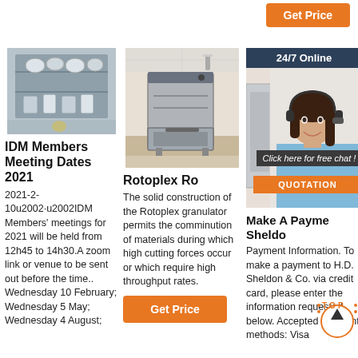[Figure (other): Orange Get Price button at top right]
[Figure (photo): Dishwasher interior with dishes loaded]
IDM Members Meeting Dates 2021
2021-2-10u2002·u2002IDM Members' meetings for 2021 will be held from 12h45 to 14h30.A zoom link or venue to be sent out before the time.. Wednesday 10 February; Wednesday 5 May; Wednesday 4 August;
[Figure (photo): Standalone dishwasher appliance silver]
Rotoplex Ro
The solid construction of the Rotoplex granulator permits the comminution of materials during which high cutting forces occur or which require high throughput rates.
[Figure (other): Orange Get Price button]
[Figure (photo): 24/7 Online banner with customer service woman]
Make A Payme Sheldo
Payment Information. To make a payment to H.D. Sheldon & Co. via credit card, please enter the information requested below. Accepted payment methods: Visa
[Figure (logo): TOP scroll-to-top circular logo]